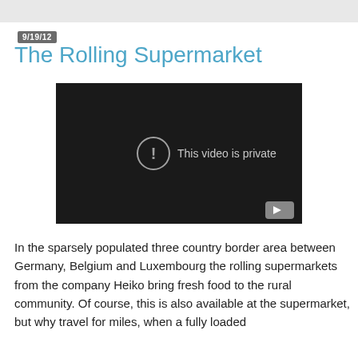9/19/12
The Rolling Supermarket
[Figure (screenshot): Embedded video player showing a black screen with a circle-exclamation icon and the message 'This video is private', with a YouTube play button in the bottom right corner.]
In the sparsely populated three country border area between Germany, Belgium and Luxembourg the rolling supermarkets from the company Heiko bring fresh food to the rural community. Of course, this is also available at the supermarket, but why travel for miles, when a fully loaded Mercedes-Benz Vario comes to your door?